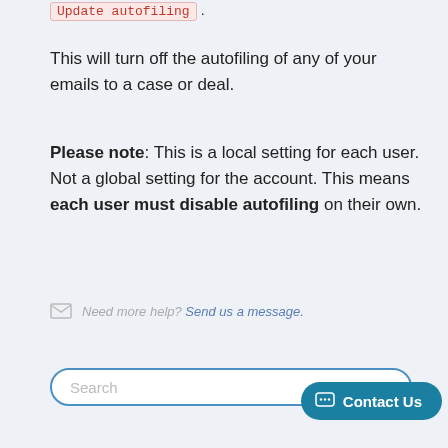Update autofiling .
This will turn off the autofiling of any of your emails to a case or deal.
Please note: This is a local setting for each user. Not a global setting for the account. This means each user must disable autofiling on their own.
Need more help? Send us a message.
Search
Contact Us